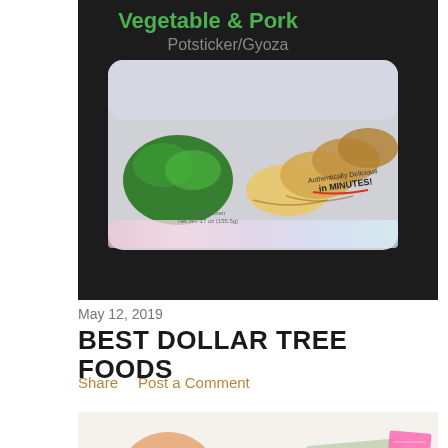[Figure (photo): Bag of Vegetable & Pork Potsticker/Gyoza frozen food product on a dark background, showing dumplings and herbs, with text 'Authentically Delicious in MINUTES']
May 12, 2019
BEST DOLLAR TREE FOODS
Share   Post a Comment
[Figure (photo): A glazed donut on a white surface next to a $5 bill and pink price stickers, with colorful candy dots scattered around]